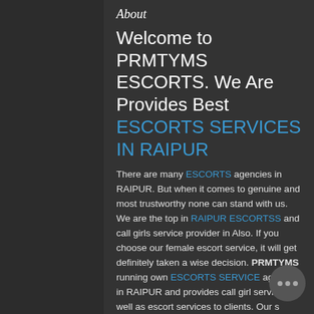About
Welcome to PRMTYMS ESCORTS. We Are Provides Best ESCORTS SERVICES IN RAIPUR
There are many ESCORTS agencies in RAIPUR. But when it comes to genuine and most trustworthy none can stand with us. We are the top in RAIPUR ESCORTSS and call girls service provider in Also. If you choose our female escort service, it will get definitely taken a wise decision. PRMTYMS running own ESCORTS SERVICE agency in RAIPUR and provides call girl services as well as escort services to clients. Our s shorts of terms and conditions for hiring escorts in RAIPUR. Offer InCall or OutCall